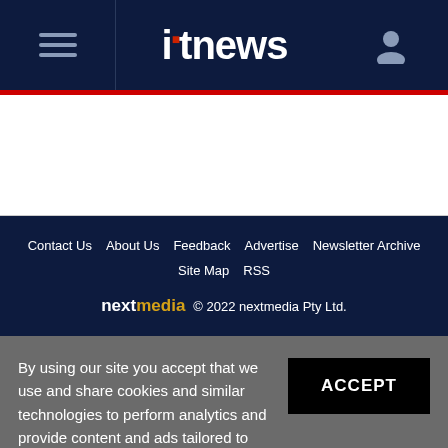itnews
Contact Us | About Us | Feedback | Advertise | Newsletter Archive | Site Map | RSS | nextmedia © 2022 nextmedia Pty Ltd.
By using our site you accept that we use and share cookies and similar technologies to perform analytics and provide content and ads tailored to your interests. By continuing to use our site, you consent to this. Please see our Cookie Policy for more information.